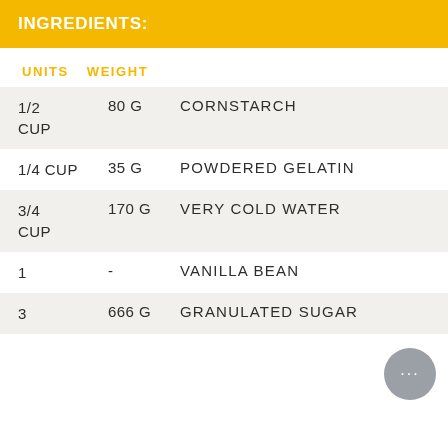INGREDIENTS:
UNITS   WEIGHT
| UNITS | WEIGHT | INGREDIENT |
| --- | --- | --- |
| 1/2 CUP | 80 G | CORNSTARCH |
| 1/4 CUP | 35 G | POWDERED GELATIN |
| 3/4 CUP | 170 G | VERY COLD WATER |
| 1 | - | VANILLA BEAN |
| 3 | 666 G | GRANULATED SUGAR |